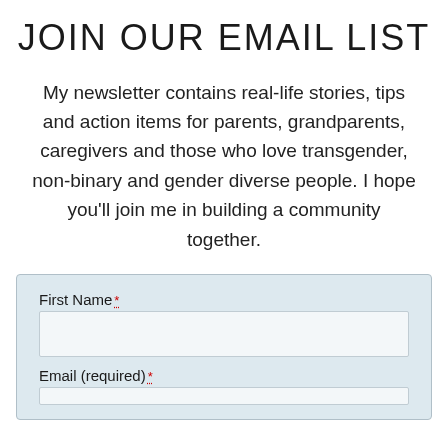JOIN OUR EMAIL LIST
My newsletter contains real-life stories, tips and action items for parents, grandparents, caregivers and those who love transgender, non-binary and gender diverse people. I hope you'll join me in building a community together.
First Name * [input field] Email (required) * [input field]